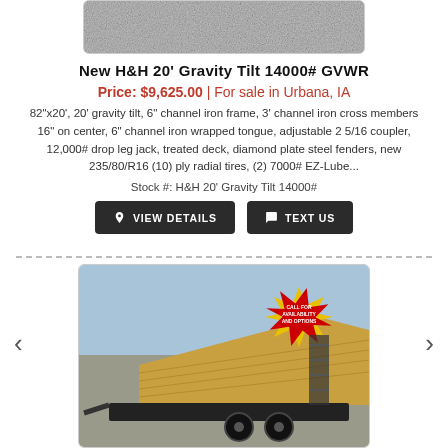[Figure (photo): Partial top view of a trailer surface, gray gravel/concrete texture visible]
New H&H 20' Gravity Tilt 14000# GVWR
Price: $9,625.00 | For sale in Urbana, IA
82"x20', 20' gravity tilt, 6" channel iron frame, 3' channel iron cross members 16" on center, 6" channel iron wrapped tongue, adjustable 2 5/16 coupler, 12,000# drop leg jack, treated deck, diamond plate steel fenders, new 235/80/R16 (10) ply radial tires, (2) 7000# EZ-Lube...
Stock #: H&H 20' Gravity Tilt 14000#
[Figure (screenshot): Buttons: VIEW DETAILS and TEXT US]
[Figure (photo): Photo of a black H&H gravity tilt trailer with wooden deck, parked outdoors. A red starburst badge reads 'CALL FOR AVAILABILITY AND OPTIONS'.]